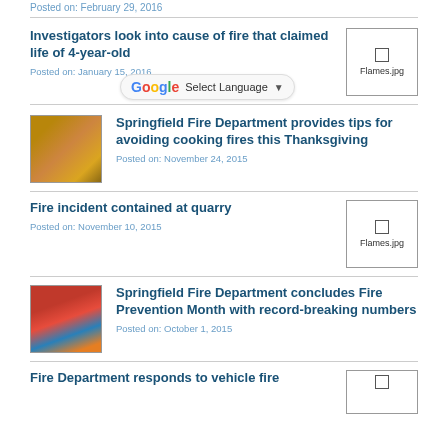Posted on: February 29, 2016
Investigators look into cause of fire that claimed life of 4-year-old
Posted on: January 15, 2016
Springfield Fire Department provides tips for avoiding cooking fires this Thanksgiving
Posted on: November 24, 2015
Fire incident contained at quarry
Posted on: November 10, 2015
Springfield Fire Department concludes Fire Prevention Month with record-breaking numbers
Posted on: October 1, 2015
Fire Department responds to vehicle fire